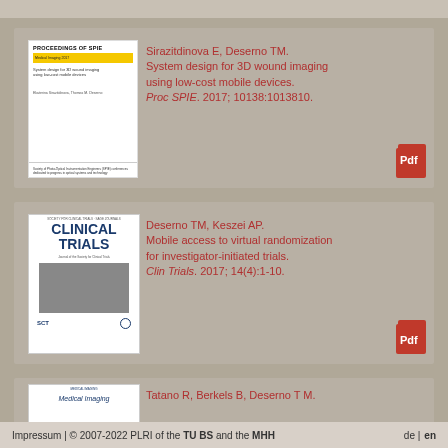[Figure (other): Book cover thumbnail for Proceedings of SPIE journal]
Sirazitdinova E, Deserno TM. System design for 3D wound imaging using low-cost mobile devices. Proc SPIE. 2017; 10138:1013810.
[Figure (other): Book cover thumbnail for Clinical Trials journal]
Deserno TM, Keszei AP. Mobile access to virtual randomization for investigator-initiated trials. Clin Trials. 2017; 14(4):1-10.
[Figure (other): Book cover thumbnail for Medical Imaging journal (partially visible)]
Tatano R, Berkels B, Deserno T M.
Impressum | © 2007-2022 PLRI of the TU BS and the MHH    de | en